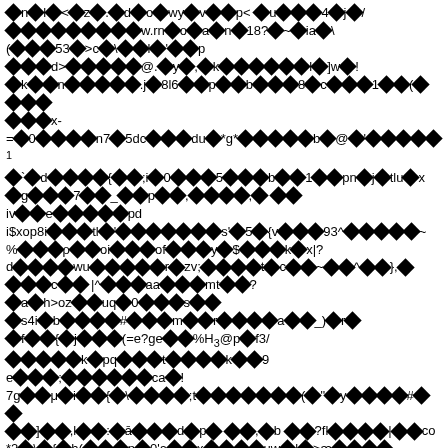Corrupted/encoded text content with diamond replacement characters interspersed with Latin characters, numbers, and symbols across multiple lines. The content appears to be garbled or encoded binary/text data rendered with diamond placeholder glyphs for unrecognized characters.